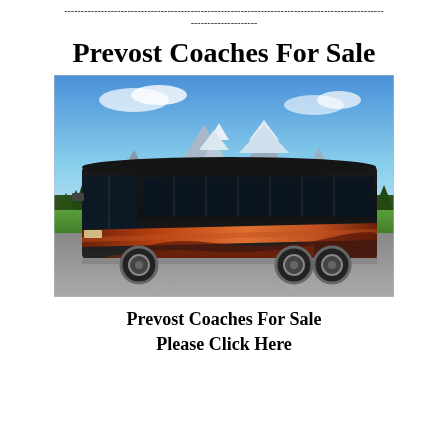------------------------------------------------------------------------------------------------
--------------------
Prevost Coaches For Sale
[Figure (photo): A large luxury Prevost motor coach bus with black body and copper/orange decorative stripes parked on a road with snow-capped mountains, evergreen trees, and blue sky in the background.]
Prevost Coaches For Sale
Please Click Here